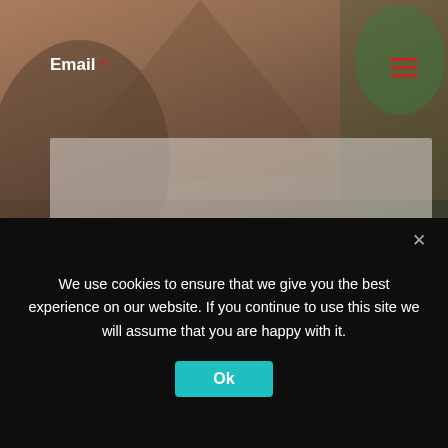Email *
[Figure (screenshot): Empty email input field with semi-transparent white/grey background on a mountain biking photo background]
Resort *
[Figure (screenshot): Resort input field with placeholder text 'Where are you staying?' on semi-transparent background]
Message *
[Figure (screenshot): Empty message text area input field on semi-transparent background]
We use cookies to ensure that we give you the best experience on our website. If you continue to use this site we will assume that you are happy with it.